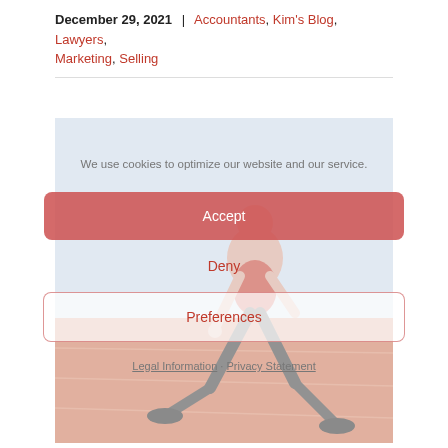December 29, 2021 | Accountants, Kim's Blog, Lawyers, Marketing, Selling
[Figure (photo): Athlete in red athletic wear crouched in starting position on a running track]
We use cookies to optimize our website and our service.
Accept
Deny
Preferences
Legal Information · Privacy Statement